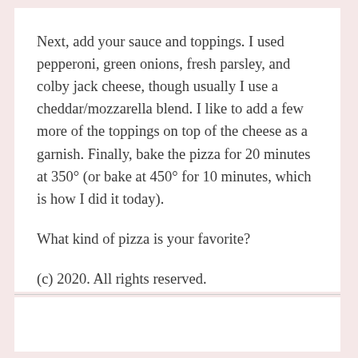Next, add your sauce and toppings. I used pepperoni, green onions, fresh parsley, and colby jack cheese, though usually I use a cheddar/mozzarella blend. I like to add a few more of the toppings on top of the cheese as a garnish. Finally, bake the pizza for 20 minutes at 350° (or bake at 450° for 10 minutes, which is how I did it today).
What kind of pizza is your favorite?
(c) 2020. All rights reserved.